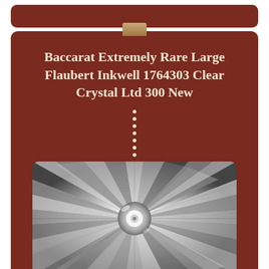Baccarat Extremely Rare Large Flaubert Inkwell 1764303 Clear Crystal Ltd 300 New
[Figure (photo): Close-up photograph of a Baccarat crystal inkwell showing star-burst cut crystal pattern with radiating facets in black and white / greyscale.]